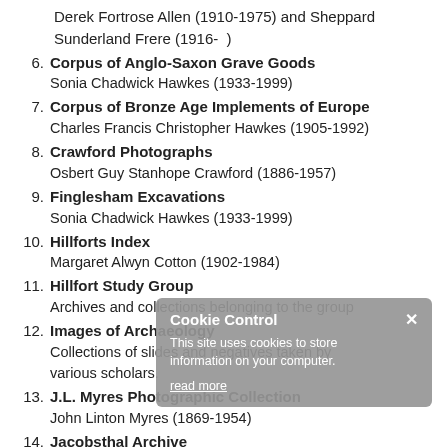Derek Fortrose Allen (1910-1975) and Sheppard Sunderland Frere (1916- )
6. Corpus of Anglo-Saxon Grave Goods
Sonia Chadwick Hawkes (1933-1999)
7. Corpus of Bronze Age Implements of Europe
Charles Francis Christopher Hawkes (1905-1992)
8. Crawford Photographs
Osbert Guy Stanhope Crawford (1886-1957)
9. Finglesham Excavations
Sonia Chadwick Hawkes (1933-1999)
10. Hillforts Index
Margaret Alwyn Cotton (1902-1984)
11. Hillfort Study Group
Archives and collections belonging to the group
12. Images of Archaeology
Collections of slides and negatives taken by various scholars.
13. J.L. Myres Photographic Collection
John Linton Myres (1869-1954)
14. Jacobsthal Archive